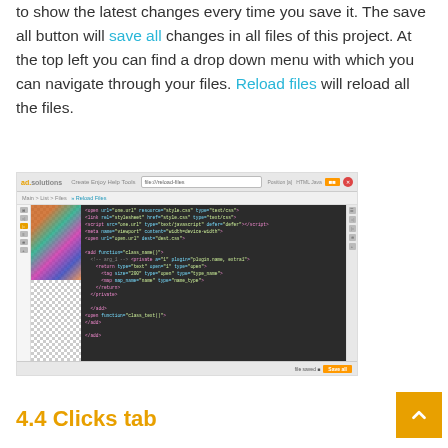to show the latest changes every time you save it. The save all button will save all changes in all files of this project. At the top left you can find a drop down menu with which you can navigate through your files. Reload files will reload all the files.
[Figure (screenshot): Screenshot of ad.solutions code editor showing HTML code with an image panel on the left featuring a colorful graffiti-style image and transparent checkerboard area, code panel in center with colored syntax-highlighted HTML, and navigation sidebar on the right.]
4.4 Clicks tab